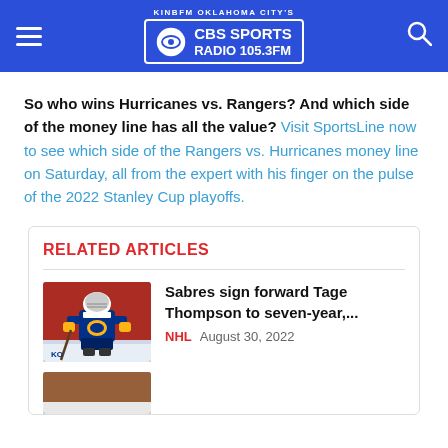KINBFM OKLAHOMA CITY'S CBS SPORTS RADIO 105.3FM
So who wins Hurricanes vs. Rangers? And which side of the money line has all the value? Visit SportsLine now to see which side of the Rangers vs. Hurricanes money line on Saturday, all from the expert with his finger on the pulse of the 2022 Stanley Cup playoffs.
RELATED ARTICLES
[Figure (photo): Hockey player in Buffalo Sabres uniform on ice]
Sabres sign forward Tage Thompson to seven-year,...
NHL  August 30, 2022
[Figure (photo): Partial bottom article thumbnail]